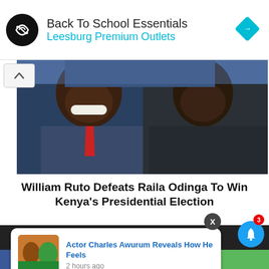[Figure (screenshot): Advertisement banner for Back To School Essentials at Leesburg Premium Outlets with logo and diamond navigation icon]
[Figure (photo): Two men in suits smiling, likely William Ruto and Raila Odinga or associates, news article header photo]
William Ruto Defeats Raila Odinga To Win Kenya's Presidential Election
[Figure (screenshot): Notification card: Actor Charles Awurum Reveals How He Feels, 2 hours ago, with thumbnail photo]
[Figure (screenshot): Social share bar with Facebook, Twitter, WhatsApp, Messenger icons and notification bell with badge 3]